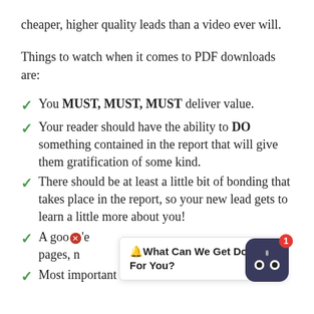cheaper, higher quality leads than a video ever will.
Things to watch when it comes to PDF downloads are:
You MUST, MUST, MUST deliver value.
Your reader should have the ability to DO something contained in the report that will give them gratification of some kind.
There should be at least a little bit of bonding that takes place in the report, so your new lead gets to learn a little more about you!
A good [partially obscured] pages, m[ore] [obscured text]
Most important of all – it needs to focus on
🔔What Can We Get Done For You?